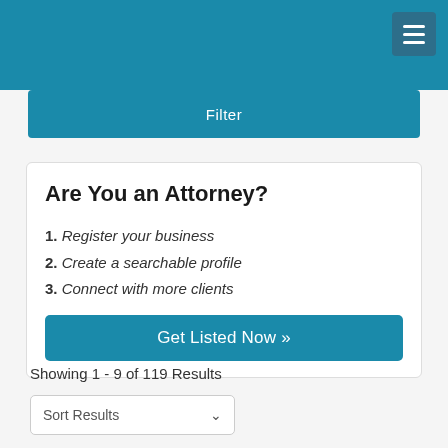Filter
Are You an Attorney?
1. Register your business
2. Create a searchable profile
3. Connect with more clients
Get Listed Now »
Showing 1 - 9 of 119 Results
Sort Results